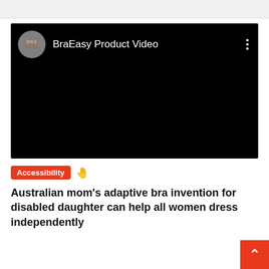[Figure (screenshot): BraEasy Product Video embedded player with black background. Shows circular gray logo with 'BraEasy' text on left, title 'BraEasy Product Video' in white in center, and three-dot menu icon on right.]
Accessibility 🤚
Australian mom's adaptive bra invention for disabled daughter can help all women dress independently